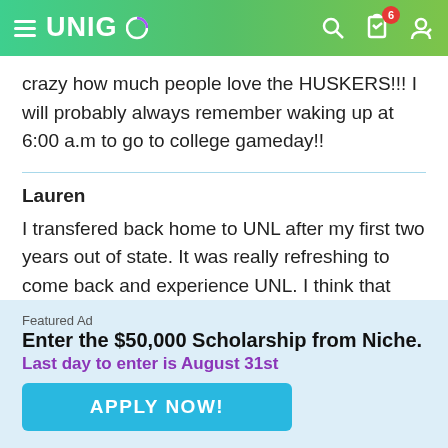UNIGO
crazy how much people love the HUSKERS!!! I will probably always remember waking up at 6:00 a.m to go to college gameday!!
Lauren
I transfered back home to UNL after my first two years out of state. It was really refreshing to come back and experience UNL. I think that Lincoln and UNL offer a lot more than what meets the eye. For me it was the [...]here on and around campus. Theft is a HUGE
Featured Ad
Enter the $50,000 Scholarship from Niche.
Last day to enter is August 31st
APPLY NOW!